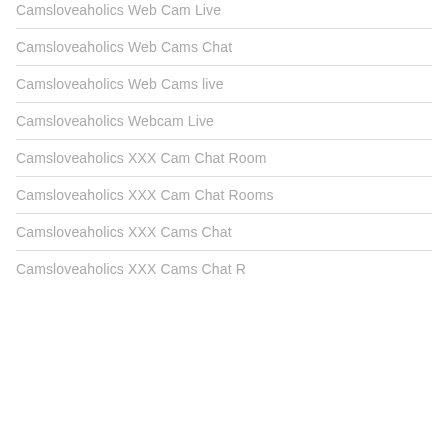Camsloveaholics Web Cam Live
Camsloveaholics Web Cams Chat
Camsloveaholics Web Cams live
Camsloveaholics Webcam Live
Camsloveaholics XXX Cam Chat Room
Camsloveaholics XXX Cam Chat Rooms
Camsloveaholics XXX Cams Chat
Camsloveaholics XXX Cams Chat R...